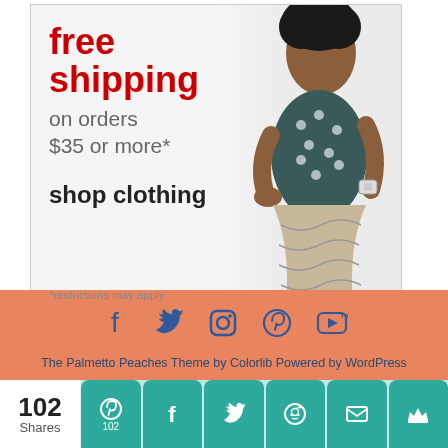[Figure (photo): Target advertisement banner: free shipping on orders $35 or more*, shop clothing, with a model wearing a patterned dress and watch. *restrictions may apply]
[Figure (infographic): Salmon/peach colored website footer with social media icons: Facebook, Twitter, Instagram, Pinterest, YouTube. Footer text: The Palmetto Peaches Theme by Colorlib Powered by WordPress]
The Palmetto Peaches Theme by Colorlib Powered by WordPress
[Figure (infographic): Share bar at bottom: 102 Shares on left, teal rounded buttons for Pinterest (102), Facebook, Twitter, Reddit, Email, Crown/Monarchy icons]